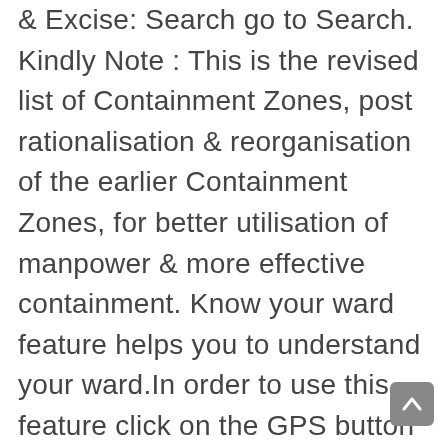& Excise: Search go to Search. Kindly Note: This is the revised list of Containment Zones, post rationalisation & reorganisation of the earlier Containment Zones, for better utilisation of manpower & more effective containment. Know your ward feature helps you to understand your ward.In order to use this feature click on the GPS button on Left hand side, allow the website to access your mobile/tab location and â¦ Social distancing measures have been lifted. Pennsylvania reported 4,762 more cases of the coronavirus on Monday as Gov. Geneva â The International Organization for Migration (IOM) is donating 40,000 surgical gloves, 4,800 high quality surgical masks and 2,375 isolation suits to protect frontline health personnel working tirelessly on the novel coronavirus (2019-nCoV)